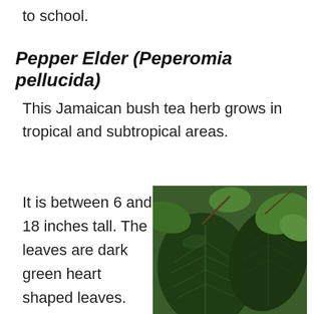to school.
Pepper Elder (Peperomia pellucida)
This Jamaican bush tea herb grows in tropical and subtropical areas.
It is between 6 and 18 inches tall. The leaves are dark green heart shaped leaves.
[Figure (photo): Close-up photograph of large dark green heart-shaped leaves of Peperomia pellucida plant with foliage in background]